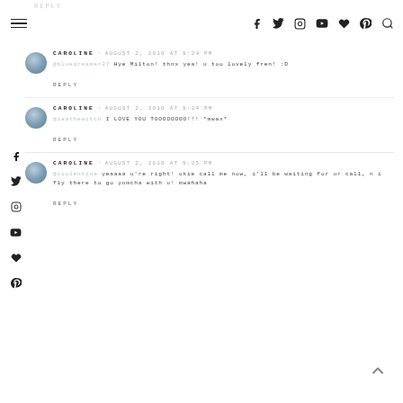REPLY
CAROLINE · AUGUST 2, 2010 AT 9:24 PM
@bluedreamer27 Hye Milton! thnx yea! u too lovely fren! :D
REPLY
CAROLINE · AUGUST 2, 2010 AT 9:24 PM
@iamthewitch I LOVE YOU TOOOOOOOO!!! *mwax*
REPLY
CAROLINE · AUGUST 2, 2010 AT 9:25 PM
@violentina yeaaaa u're right! okie call me now, i'll be waiting for ur call, n i fly there to go yumcha with u! mwahaha
REPLY